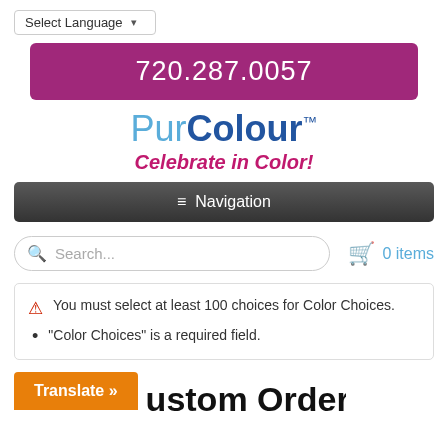Select Language ▾
720.287.0057
PurColour™
Celebrate in Color!
≡ Navigation
Search...
0 items
You must select at least 100 choices for Color Choices.
"Color Choices" is a required field.
Translate »
ustom Orders | Any